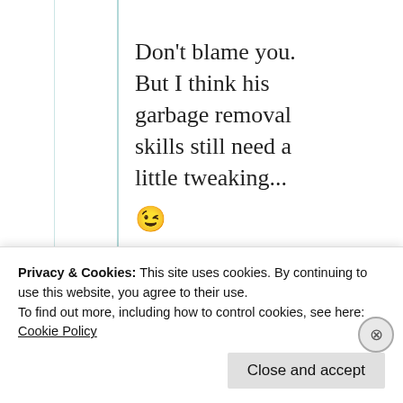Don't blame you. But I think his garbage removal skills still need a little tweaking... 😉
★ Liked by 1 person
Privacy & Cookies: This site uses cookies. By continuing to use this website, you agree to their use.
To find out more, including how to control cookies, see here: Cookie Policy